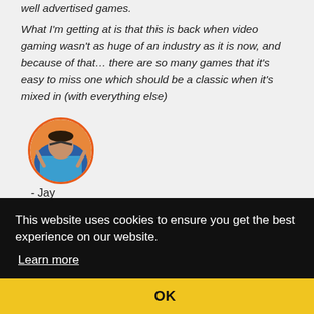well advertised games.
What I'm getting at is that this is back when video gaming wasn't as huge of an industry as it is now, and because of that… there are so many games that it's easy to miss one which should be a classic when it's mixed in (with everything else)
[Figure (photo): Circular avatar photo of a person with an orange border, labeled Jay]
- Jay
This website uses cookies to ensure you get the best experience on our website.
Learn more
OK
with
many